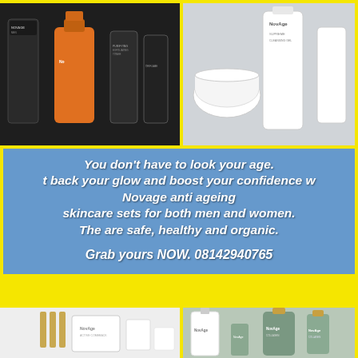[Figure (photo): Collage of NovAge men's and women's skincare product bottles on dark and light backgrounds]
You don't have to look your age. t back your glow and boost your confidence w Novage anti ageing skincare sets for both men and women. The are safe, healthy and organic.

Grab yours NOW. 08142940765
[Figure (photo): NovAge skincare product bottles on white and sage green backgrounds]